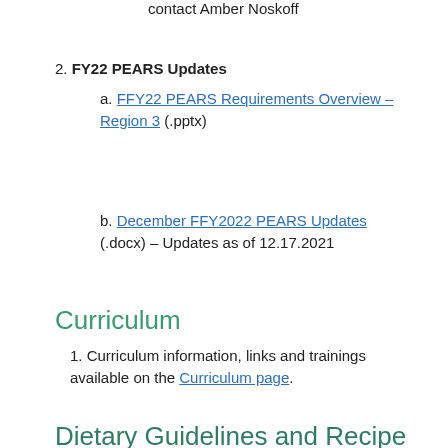contact Amber Noskoff
2. FY22 PEARS Updates
  a. FFY22 PEARS Requirements Overview – Region 3 (.pptx)
  b. December FFY2022 PEARS Updates (.docx) – Updates as of 12.17.2021
Curriculum
1. Curriculum information, links and trainings available on the Curriculum page.
Dietary Guidelines and Recipe Guidance